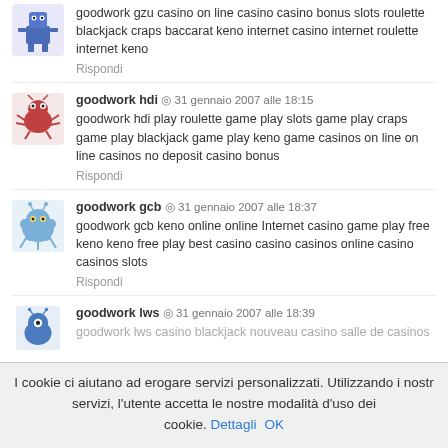goodwork gzu casino on line casino casino bonus slots roulette blackjack craps baccarat keno internet casino internet roulette internet keno
Rispondi
goodwork hdi · 31 gennaio 2007 alle 18:15
goodwork hdi play roulette game play slots game play craps game play blackjack game play keno game casinos on line on line casinos no deposit casino bonus
Rispondi
goodwork gcb · 31 gennaio 2007 alle 18:37
goodwork gcb keno online online Internet casino game play free keno keno free play best casino casino casinos online casino casinos slots
Rispondi
goodwork lws · 31 gennaio 2007 alle 18:39
goodwork lws casino blackjack nouveau casino salle de casinos
I cookie ci aiutano ad erogare servizi personalizzati. Utilizzando i nostri servizi, l'utente accetta le nostre modalità d'uso dei cookie. Dettagli OK